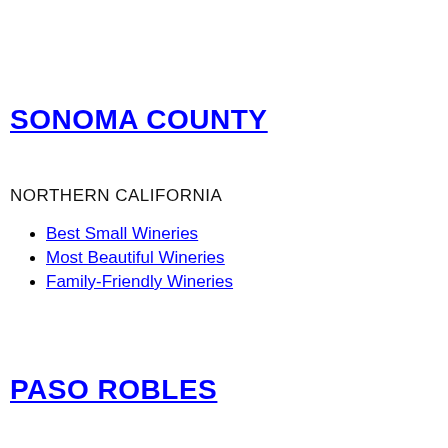SONOMA COUNTY
NORTHERN CALIFORNIA
Best Small Wineries
Most Beautiful Wineries
Family-Friendly Wineries
PASO ROBLES